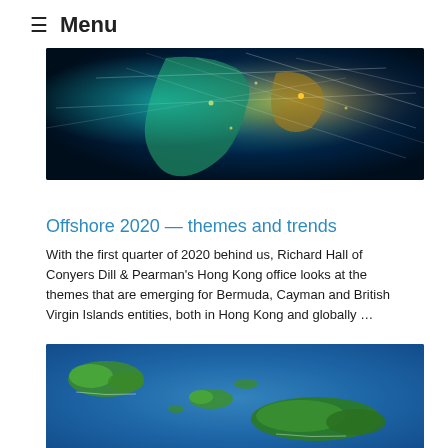≡ Menu
[Figure (photo): Aerial view of Earth at night showing network connections over Africa and Middle East with glowing lights]
Offshore 2020 — themes and trends
With the first quarter of 2020 behind us, Richard Hall of Conyers Dill & Pearman's Hong Kong office looks at the themes that are emerging for Bermuda, Cayman and British Virgin Islands entities, both in Hong Kong and globally …
[Figure (photo): Aerial view of British Virgin Islands showing green tropical islands surrounded by deep blue ocean]